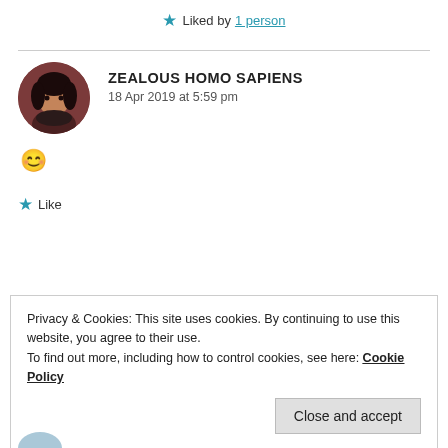★ Liked by 1 person
ZEALOUS HOMO SAPIENS
18 Apr 2019 at 5:59 pm
😊
★ Like
Privacy & Cookies: This site uses cookies. By continuing to use this website, you agree to their use.
To find out more, including how to control cookies, see here: Cookie Policy
Close and accept